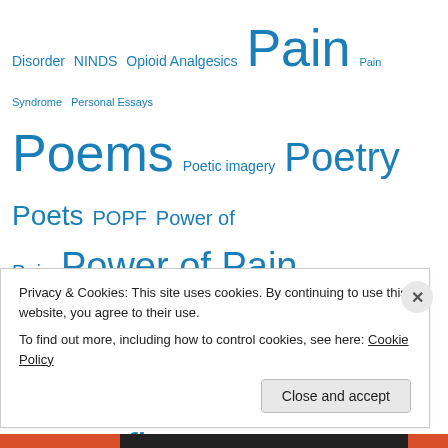Disorder NINDS Opioid Analgesics Pain Pain Syndrome Personal Essays Poems Poetic imagery Poetry Poets POPF Power of Pain Power of Pain Foundation Prescription Drug Abuse Progress Rare Disorders Reflections Reflex Sympathetic Dystrophy Reflex Sympathetic Dystrophy Syndrome RSD RSD/CRPS RSD Awareness RSDS RSDSA Sacramento Sacramento California SCS September National Pain Awareness Month September Pain
Privacy & Cookies: This site uses cookies. By continuing to use this website, you agree to their use.
To find out more, including how to control cookies, see here: Cookie Policy
Close and accept